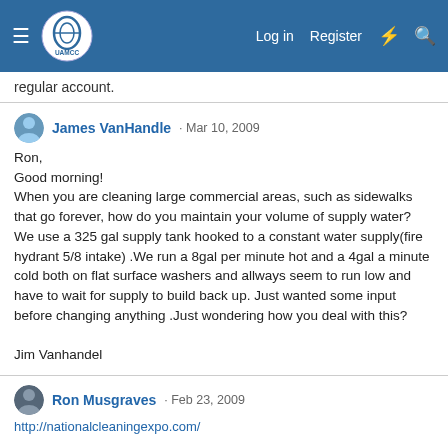UAMCC — Log in  Register
regular account.
James VanHandle · Mar 10, 2009
Ron,
Good morning!
When you are cleaning large commercial areas, such as sidewalks that go forever, how do you maintain your volume of supply water? We use a 325 gal supply tank hooked to a constant water supply(fire hydrant 5/8 intake) .We run a 8gal per minute hot and a 4gal a minute cold both on flat surface washers and allways seem to run low and have to wait for supply to build back up. Just wanted some input before changing anything .Just wondering how you deal with this?

Jim Vanhandel
Ron Musgraves · Feb 23, 2009
http://nationalcleaningexpo.com/